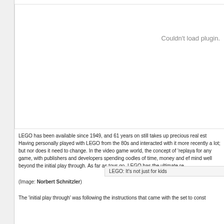[Figure (other): Plugin placeholder area showing 'Couldn't load plugin.' message in gray text on white background]
LEGO has been available since 1949, and 61 years on still takes up precious real est Having personally played with LEGO from the 80s and interacted with it more recently a lot; but nor does it need to change. In the video game world, the concept of 'replaya for any game, with publishers and developers spending oodles of time, money and ef mind well beyond the initial play through. As far as toys go, LEGO has the ultimate re
LEGO: It's not just for kids
(Image: Norbert Schnitzler)
The 'initial play through' was following the instructions that came with the set to const